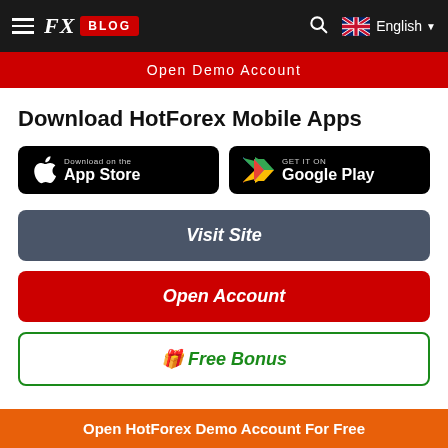FX BLOG | Search | English
Open Demo Account
Download HotForex Mobile Apps
[Figure (screenshot): App Store download button (black, rounded rectangle) with Apple logo and 'Download on the App Store' text]
[Figure (screenshot): Google Play download button (black, rounded rectangle) with Play Store logo and 'GET IT ON Google Play' text]
Visit Site
Open Account
Free Bonus
Open HotForex Demo Account For Free